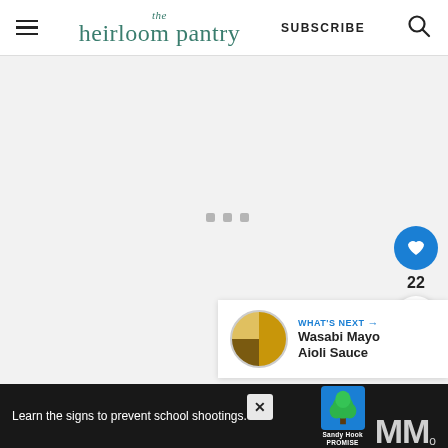the heirloom pantry — SUBSCRIBE
[Figure (screenshot): Loading content area with gray dots indicator, heart/like button (22 likes), share button, and 'What's Next: Wasabi Mayo Aioli Sauce' panel on the right side]
[Figure (infographic): Sandy Hook Promise advertisement banner at the bottom: 'Learn the signs to prevent school shootings.' with tree logo and partial text overlay]
Learn the signs to prevent school shootings.